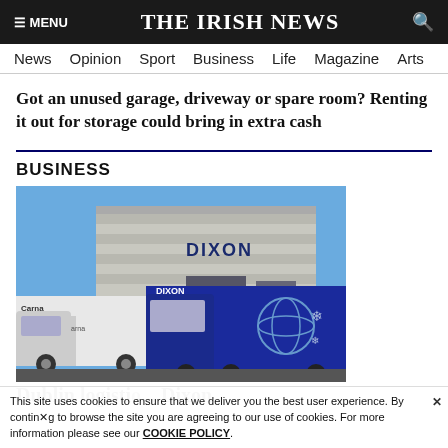≡ MENU   THE IRISH NEWS   🔍
News  Opinion  Sport  Business  Life  Magazine  Arts
Got an unused garage, driveway or spare room? Renting it out for storage could bring in extra cash
BUSINESS
[Figure (photo): Two large trucks parked in front of a Dixon logistics warehouse building. One truck is white with 'Carna' branding, the other is blue with 'Dixon' branding and a globe logo. The building has 'DIXON' signage prominently displayed.]
Dublin logisti... Dixon
This site uses cookies to ensure that we deliver you the best user experience. By continuing to browse the site you are agreeing to our use of cookies. For more information please see our COOKIE POLICY